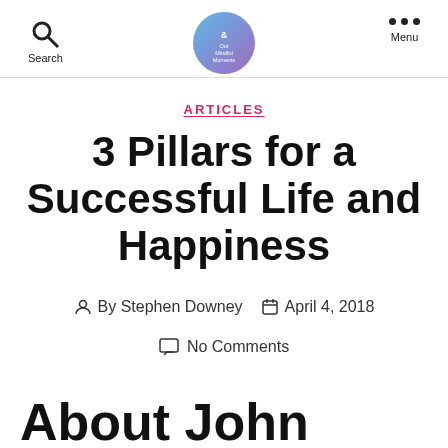Search  [Our Mindful Moments logo]  Menu
ARTICLES
3 Pillars for a Successful Life and Happiness
By Stephen Downey   April 4, 2018   No Comments
About John